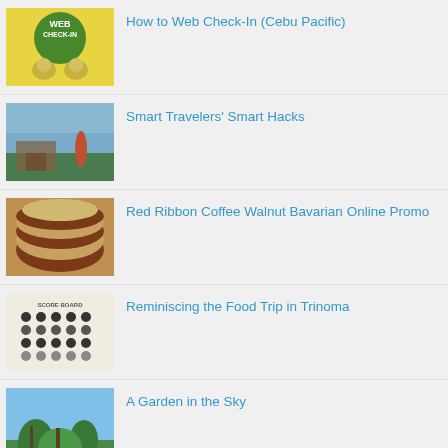How to Web Check-In (Cebu Pacific)
Smart Travelers' Smart Hacks
Red Ribbon Coffee Walnut Bavarian Online Promo
Reminiscing the Food Trip in Trinoma
A Garden in the Sky